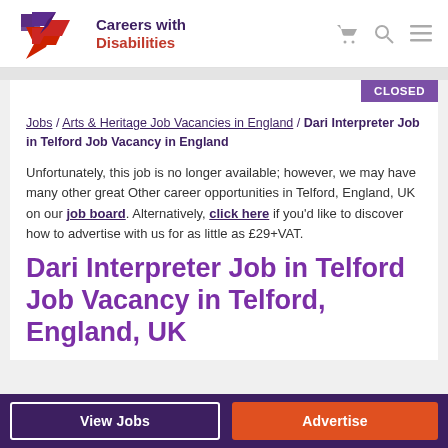Careers with Disabilities
Jobs / Arts & Heritage Job Vacancies in England / Dari Interpreter Job in Telford Job Vacancy in England
Unfortunately, this job is no longer available; however, we may have many other great Other career opportunities in Telford, England, UK on our job board. Alternatively, click here if you'd like to discover how to advertise with us for as little as £29+VAT.
Dari Interpreter Job in Telford Job Vacancy in Telford, England, UK
View Jobs   Advertise